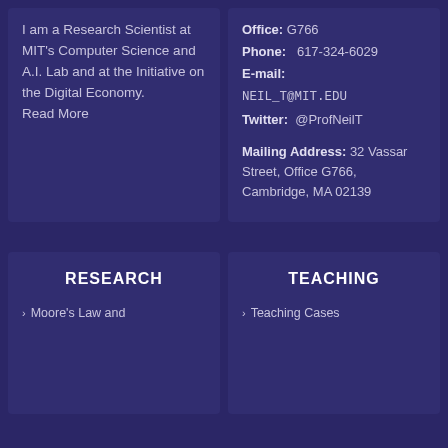I am a Research Scientist at MIT's Computer Science and A.I. Lab and at the Initiative on the Digital Economy. Read More
Office: G766
Phone: 617-324-6029
E-mail: NEIL_T@MIT.EDU
Twitter: @ProfNeilT
Mailing Address: 32 Vassar Street, Office G766, Cambridge, MA 02139
RESEARCH
Moore's Law and
TEACHING
Teaching Cases